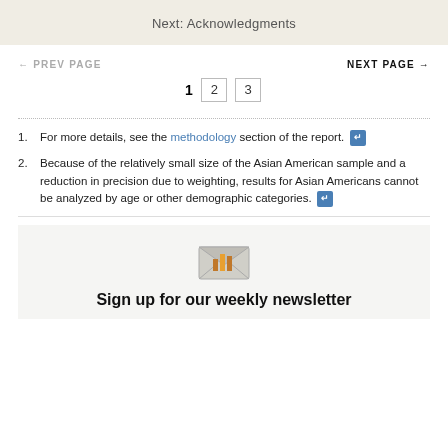Next: Acknowledgments
← PREV PAGE    NEXT PAGE →
1  2  3
For more details, see the methodology section of the report. ↩
Because of the relatively small size of the Asian American sample and a reduction in precision due to weighting, results for Asian Americans cannot be analyzed by age or other demographic categories. ↩
Sign up for our weekly newsletter